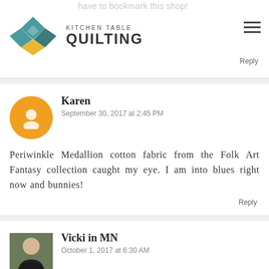have to bookmark this shop!
[Figure (logo): Kitchen Table Quilting logo with geometric quilt-block icon and text]
Karen
September 30, 2017 at 2:45 PM
Periwinkle Medallion cotton fabric from the Folk Art Fantasy collection caught my eye. I am into blues right now and bunnies!
Reply
Vicki in MN
October 1, 2017 at 6:30 AM
I like her prices better than brick and mortar sho
Reply